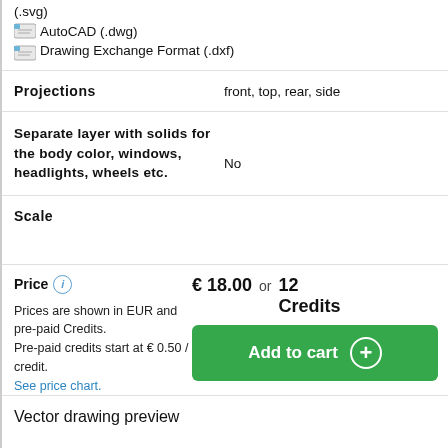(.svg)
AutoCAD (.dwg)
Drawing Exchange Format (.dxf)
Projections
front, top, rear, side
Separate layer with solids for the body color, windows, headlights, wheels etc.
No
Scale
Price
€ 18.00 or 12 Credits
Prices are shown in EUR and pre-paid Credits.
Pre-paid credits start at € 0.50 / credit.
See price chart.
Add to cart
Vector drawing preview